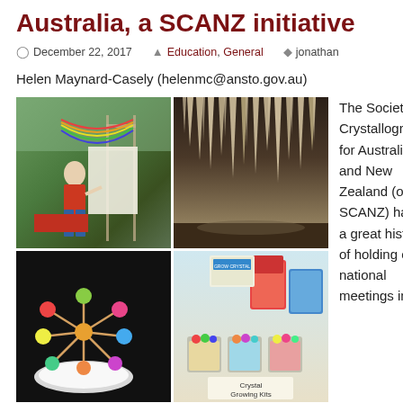Australia, a SCANZ initiative
December 22, 2017  Education, General  jonathan
Helen Maynard-Casely (helenmc@ansto.gov.au)
[Figure (photo): Four-photo grid: top-left shows a woman in red top presenting outdoors with rainbow bunting; top-right shows crystal cave formations (stalactites); bottom-left shows a molecular model made from lolly candies and sticks on a dark background; bottom-right shows crystal growing kits in cups with a sign reading 'Crystal Growing Kits']
The Society of Crystallography for Australia and New Zealand (or SCANZ) have a great history of holding our national meetings in